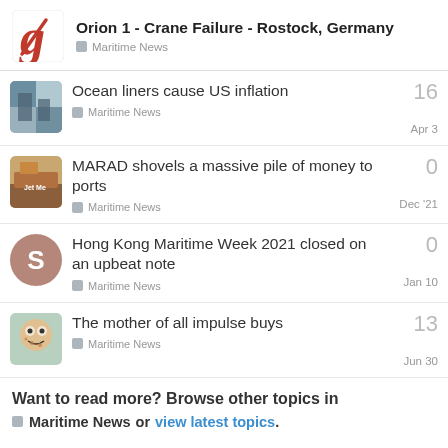Orion 1 - Crane Failure - Rostock, Germany | Maritime News
Ocean liners cause US inflation | Maritime News | 16 replies | Apr 3
MARAD shovels a massive pile of money to ports | Maritime News | 0 replies | Dec '21
Hong Kong Maritime Week 2021 closed on an upbeat note | Maritime News | 0 replies | Jan 10
The mother of all impulse buys | Maritime News | 13 replies | Jun 30
Want to read more? Browse other topics in Maritime News or view latest topics.